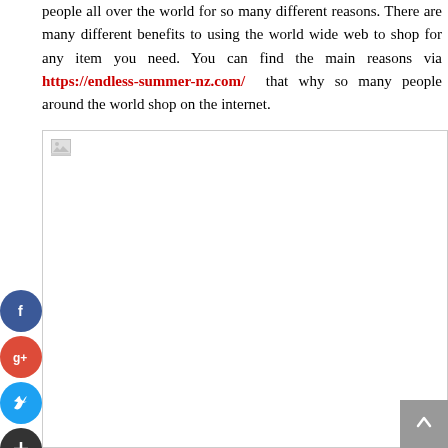people all over the world for so many different reasons. There are many different benefits to using the world wide web to shop for any item you need. You can find the main reasons via https://endless-summer-nz.com/ that why so many people around the world shop on the internet.
[Figure (photo): Large image placeholder with broken image icon in top-left corner. The image area is mostly blank/white with a small broken image thumbnail icon.]